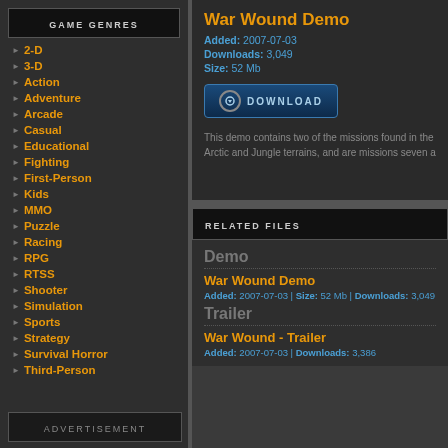GAME GENRES
2-D
3-D
Action
Adventure
Arcade
Casual
Educational
Fighting
First-Person
Kids
MMO
Puzzle
Racing
RPG
RTSS
Shooter
Simulation
Sports
Strategy
Survival Horror
Third-Person
ADVERTISEMENT
War Wound Demo
Added: 2007-07-03
Downloads: 3,049
Size: 52 Mb
This demo contains two of the missions found in the Arctic and Jungle terrains, and are missions seven a
RELATED FILES
Demo
War Wound Demo
Added: 2007-07-03 | Size: 52 Mb | Downloads: 3,049
Trailer
War Wound - Trailer
Added: 2007-07-03 | Downloads: 3,386